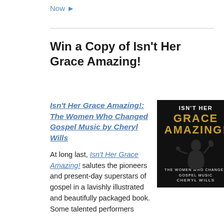Now ▶
Win a Copy of Isn't Her Grace Amazing!
Isn't Her Grace Amazing!: The Women Who Changed Gospel Music by Cheryl Wills
[Figure (illustration): Book cover of 'Isn't Her Grace Amazing!' by Cheryl Wills. Black background with gold text reading 'ISN'T HER GRACE AMAZING!' and subtitle 'The Women Who Changed Gospel Music' with a silhouette of a female singer.]
At long last, Isn't Her Grace Amazing! salutes the pioneers and present-day superstars of gospel in a lavishly illustrated and beautifully packaged book. Some talented performers